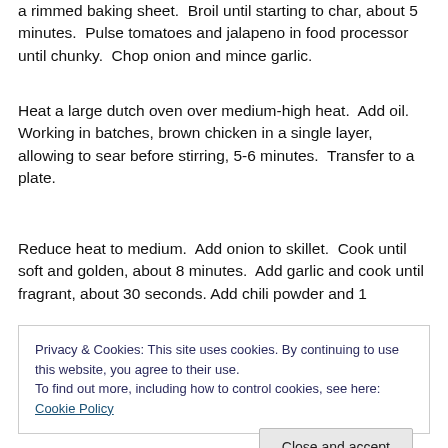a rimmed baking sheet.  Broil until starting to char, about 5 minutes.  Pulse tomatoes and jalapeno in food processor until chunky.  Chop onion and mince garlic.
Heat a large dutch oven over medium-high heat.  Add oil.  Working in batches, brown chicken in a single layer, allowing to sear before stirring, 5-6 minutes.  Transfer to a plate.
Reduce heat to medium.  Add onion to skillet.  Cook until soft and golden, about 8 minutes.  Add garlic and cook until fragrant, about 30 seconds. Add chili powder and 1
Privacy & Cookies: This site uses cookies. By continuing to use this website, you agree to their use.
To find out more, including how to control cookies, see here: Cookie Policy
Close and accept
b continuing to use this site, you agree to their use with